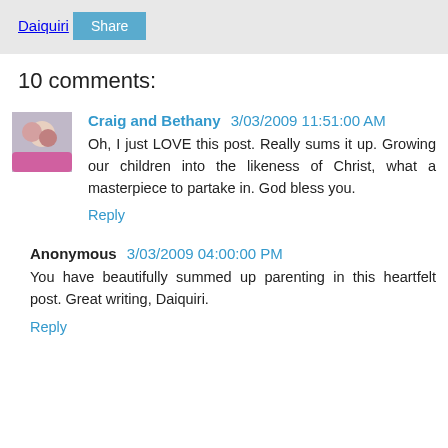Daiquiri
Share
10 comments:
Craig and Bethany 3/03/2009 11:51:00 AM
Oh, I just LOVE this post. Really sums it up. Growing our children into the likeness of Christ, what a masterpiece to partake in. God bless you.
Reply
Anonymous 3/03/2009 04:00:00 PM
You have beautifully summed up parenting in this heartfelt post. Great writing, Daiquiri.
Reply